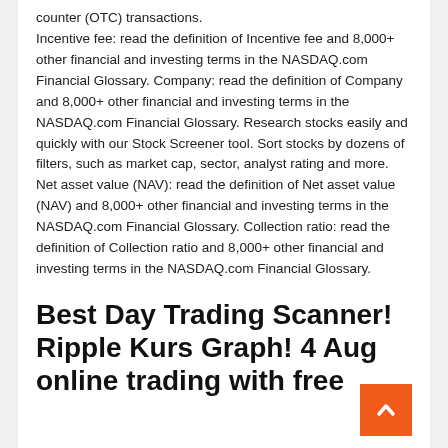counter (OTC) transactions. Incentive fee: read the definition of Incentive fee and 8,000+ other financial and investing terms in the NASDAQ.com Financial Glossary. Company: read the definition of Company and 8,000+ other financial and investing terms in the NASDAQ.com Financial Glossary. Research stocks easily and quickly with our Stock Screener tool. Sort stocks by dozens of filters, such as market cap, sector, analyst rating and more. Net asset value (NAV): read the definition of Net asset value (NAV) and 8,000+ other financial and investing terms in the NASDAQ.com Financial Glossary. Collection ratio: read the definition of Collection ratio and 8,000+ other financial and investing terms in the NASDAQ.com Financial Glossary.
Best Day Trading Scanner! Ripple Kurs Graph! 4 Aug online trading with free